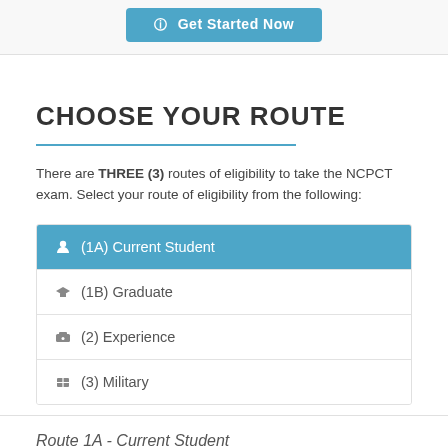[Figure (screenshot): Get Started Now button (blue/teal rounded rectangle with circle icon and text)]
CHOOSE YOUR ROUTE
There are THREE (3) routes of eligibility to take the NCPCT exam. Select your route of eligibility from the following:
(1A) Current Student — active/selected route
(1B) Graduate
(2) Experience
(3) Military
Route 1A - Current Student